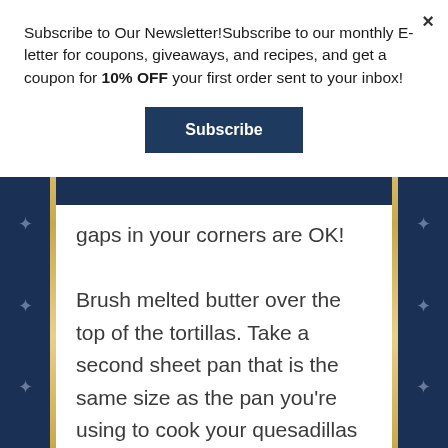Subscribe to Our Newsletter!Subscribe to our monthly E-letter for coupons, giveaways, and recipes, and get a coupon for 10% OFF your first order sent to your inbox!
Subscribe
gaps in your corners are OK!
Brush melted butter over the top of the tortillas. Take a second sheet pan that is the same size as the pan you're using to cook your quesadillas and press down hard to form a tight pocket (sheet pan –